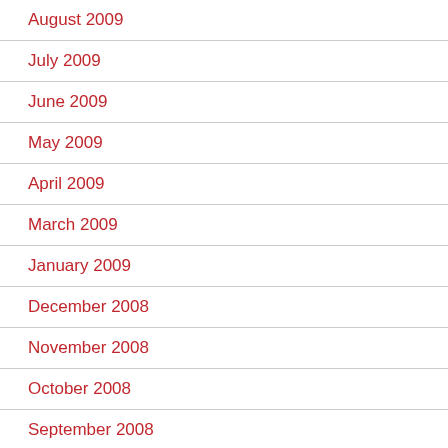August 2009
July 2009
June 2009
May 2009
April 2009
March 2009
January 2009
December 2008
November 2008
October 2008
September 2008
August 2008
June 2008